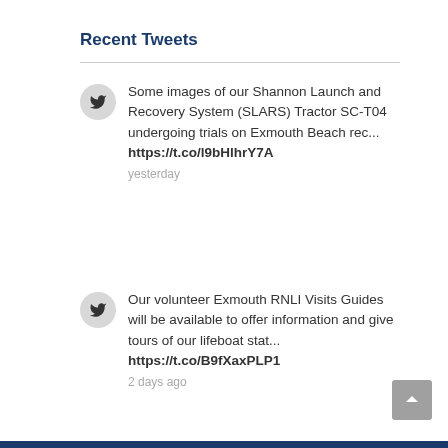Recent Tweets
Some images of our Shannon Launch and Recovery System (SLARS) Tractor SC-T04 undergoing trials on Exmouth Beach rec... https://t.co/l9bHlhrY7A
yesterday
Our volunteer Exmouth RNLI Visits Guides will be available to offer information and give tours of our lifeboat stat... https://t.co/B9fXaxPLP1
2 days ago